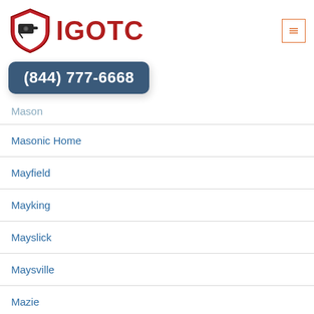[Figure (logo): IGOTC logo with security camera shield icon and red IGOTC text]
(844) 777-6668
Mason
Masonic Home
Mayfield
Mayking
Mayslick
Maysville
Mazie